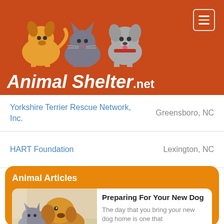[Figure (logo): AnimalShelter.net logo with cartoon dog, cat, and small dog illustrations on orange/brown background with white bold italic text]
| Name | Location |
| --- | --- |
| Yorkshire Terrier Rescue Network, Inc. | Greensboro, NC |
| HART Foundation | Lexington, NC |
Animal Articles
[Figure (photo): A golden retriever dog lying next to a gray cat, both resting together on a floor]
Preparing For Your New Dog
The day that you bring your new dog home is one that